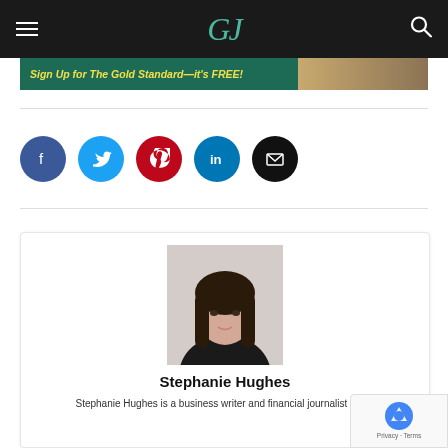GJ (logo) — site header with menu and search
[Figure (other): Banner advertisement: 'Sign Up for The Gold Standard—it's FREE!' with teal background and decorative image on right]
[Figure (other): Social sharing buttons row: Facebook (blue), Twitter (cyan), Pinterest (red), LinkedIn (dark teal), Email (black)]
[Figure (photo): Headshot photo of Stephanie Hughes, a young woman with long dark hair wearing a dark jacket, against a light background]
Stephanie Hughes
Stephanie Hughes is a business writer and financial journalist in the